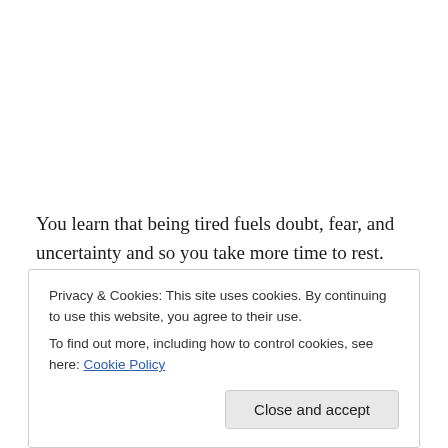You learn that being tired fuels doubt, fear, and uncertainty and so you take more time to rest. And, just food fuels the body, laughter fuels our soul. So you take more time to laugh and to play.
You learn that, for the most part, you get in life what you deserve, and that much of life truly is a self-fulfilling
Privacy & Cookies: This site uses cookies. By continuing to use this website, you agree to their use.
To find out more, including how to control cookies, see here: Cookie Policy